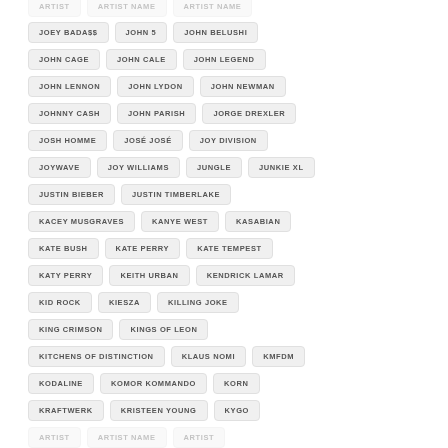JOEY BADA$$
JOHN 5
JOHN BELUSHI
JOHN CAGE
JOHN CALE
JOHN LEGEND
JOHN LENNON
JOHN LYDON
JOHN NEWMAN
JOHNNY CASH
JOHN PARISH
JORGE DREXLER
JOSH HOMME
JOSÉ JOSÉ
JOY DIVISION
JOYWAVE
JOY WILLIAMS
JUNGLE
JUNKIE XL
JUSTIN BIEBER
JUSTIN TIMBERLAKE
KACEY MUSGRAVES
KANYE WEST
KASABIAN
KATE BUSH
KATE PERRY
KATE TEMPEST
KATY PERRY
KEITH URBAN
KENDRICK LAMAR
KID ROCK
KIESZA
KILLING JOKE
KING CRIMSON
KINGS OF LEON
KITCHENS OF DISTINCTION
KLAUS NOMI
KMFDM
KODALINE
KOMOR KOMMANDO
KORN
KRAFTWERK
KRISTEEN YOUNG
KYGO